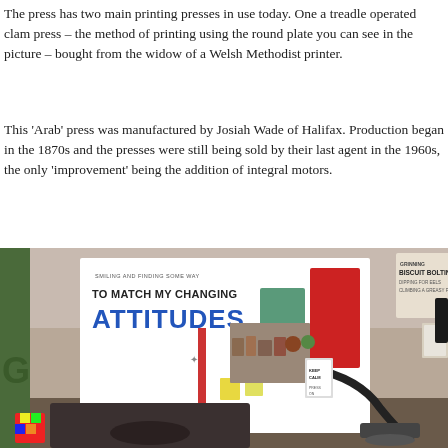The press has two main printing presses in use today. One a treadle operated clam press – the method of printing using the round plate you can see in the picture – bought from the widow of a Welsh Methodist printer.
This 'Arab' press was manufactured by Josiah Wade of Halifax. Production began in the 1870s and the presses were still being sold by their last agent in the 1960s, the only 'improvement' being the addition of integral motors.
[Figure (photo): Interior of a printing press workshop showing vintage letterpress equipment, printed posters including one reading 'TO MATCH MY CHANGING ATTITUDES', signs on the wall including 'BISCUIT BOLTING', various tools and equipment crowding the space.]